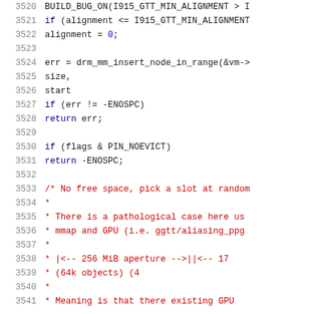[Figure (screenshot): Source code listing showing C code lines 3520-3541 with line numbers on the left, keywords in dark blue, comments in red, and numeric literals in blue. Code shows GTT alignment logic, drm_mm_insert_node_in_range call, error handling, and a comment block about free space and aperture.]